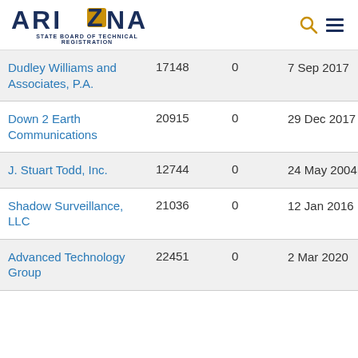ARIZONA STATE BOARD OF TECHNICAL REGISTRATION
| Name | Number | 0 | Date |
| --- | --- | --- | --- |
| Dudley Williams and Associates, P.A. | 17148 | 0 | 7 Sep 2017 |
| Down 2 Earth Communications | 20915 | 0 | 29 Dec 2017 |
| J. Stuart Todd, Inc. | 12744 | 0 | 24 May 2004 |
| Shadow Surveillance, LLC | 21036 | 0 | 12 Jan 2016 |
| Advanced Technology Group | 22451 | 0 | 2 Mar 2020 |